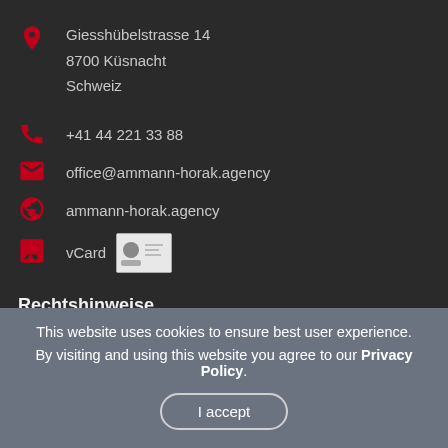Giesshübelstrasse 14
8700 Küsnacht
Schweiz
+41 44 221 33 88
office@ammann-horak.agency
ammann-horak.agency
vCard
Rechtshinweise
Imprint
This website uses cookies to ensure best user experience.
By visiting and using this website you agree to our Privacy Policy.
I accept